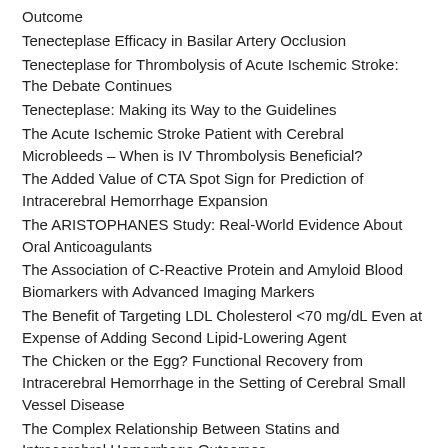Outcome
Tenecteplase Efficacy in Basilar Artery Occlusion
Tenecteplase for Thrombolysis of Acute Ischemic Stroke: The Debate Continues
Tenecteplase: Making its Way to the Guidelines
The Acute Ischemic Stroke Patient with Cerebral Microbleeds – When is IV Thrombolysis Beneficial?
The Added Value of CTA Spot Sign for Prediction of Intracerebral Hemorrhage Expansion
The ARISTOPHANES Study: Real-World Evidence About Oral Anticoagulants
The Association of C-Reactive Protein and Amyloid Blood Biomarkers with Advanced Imaging Markers
The Benefit of Targeting LDL Cholesterol <70 mg/dL Even at Expense of Adding Second Lipid-Lowering Agent
The Chicken or the Egg? Functional Recovery from Intracerebral Hemorrhage in the Setting of Cerebral Small Vessel Disease
The Complex Relationship Between Statins and Intracerebral Hemorrhage Outcomes
The contribution of convexal subarachnoid hemorrhage to disease progression in cerebral amyloid angiopathy
The COVID-19 Strokes
The Dark Side of Low NIHSS and LVO